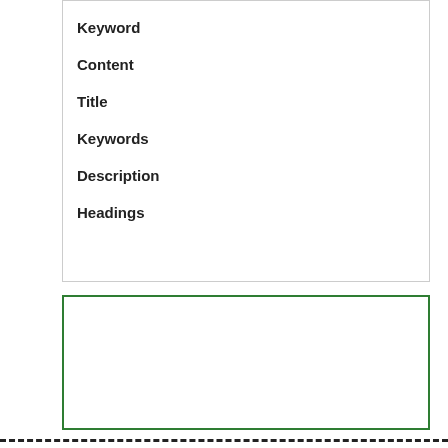Keyword
Content
Title
Keywords
Description
Headings
[Figure (screenshot): SEO Advice collapsible panel with a tag icon and green border]